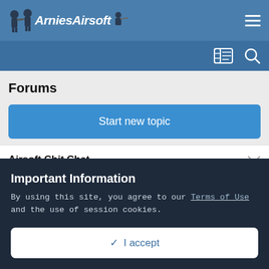ArniesAirsoft
Forums
Start new topic
Airsoft Chit Chat
General Discussion
Important Information
By using this site, you agree to our Terms of Use and the use of session cookies.
✓ I accept